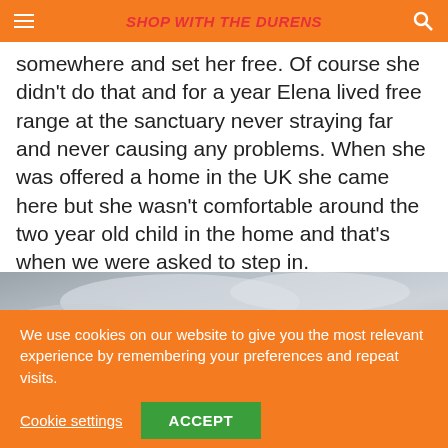SHOP WITH THE DURENS
somewhere and set her free. Of course she didn't do that and for a year Elena lived free range at the sanctuary never straying far and never causing any problems. When she was offered a home in the UK she came here but she wasn't comfortable around the two year old child in the home and that's when we were asked to step in.
[Figure (photo): Partial photo of a sky with grey clouds, partially obscured by the cookie consent banner.]
We use cookies on our website to give you the most relevant experience by remembering your preferences and repeat visits.
Cookie settings   ACCEPT